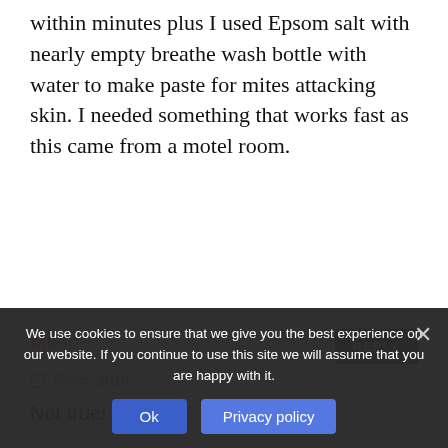within minutes plus I used Epsom salt with nearly empty breathe wash bottle with water to make paste for mites attacking skin. I needed something that works fast as this came from a motel room.
Mimi
Feb 5, 2018
Not true!
We use cookies to ensure that we give you the best experience on our website. If you continue to use this site we will assume that you are happy with it.
Call Lysol d... [obscured by overlay] ...te. It does ...